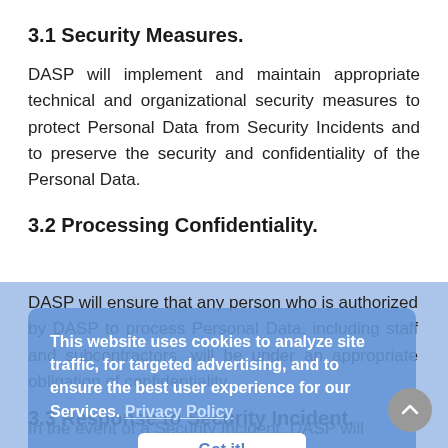3.1 Security Measures.
DASP will implement and maintain appropriate technical and organizational security measures to protect Personal Data from Security Incidents and to preserve the security and confidentiality of the Personal Data.
3.2 Processing Confidentiality.
DASP will ensure that any person who is authorized by DASP to process Personal Data, including staff and subcontractors, will be under an appropriate obligation of confidentiality.
3.3 Response to Security Incident.
In the event of a Security Incident, DASP will notify Customer without undue delay about the